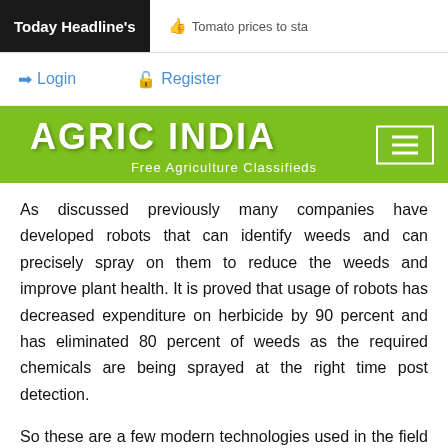Today Headline's | Tomato prices to sta
Login   Register
AGRIC INDIA
Free Agriculture Classifieds
As discussed previously many companies have developed robots that can identify weeds and can precisely spray on them to reduce the weeds and improve plant health. It is proved that usage of robots has decreased expenditure on herbicide by 90 percent and has eliminated 80 percent of weeds as the required chemicals are being sprayed at the right time post detection.
So these are a few modern technologies used in the field of farming to boost the growth of plants and rapidly increase the output.